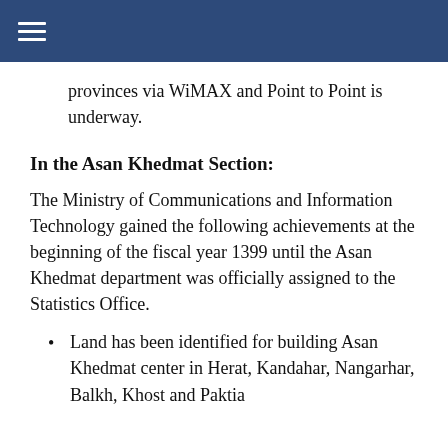≡
provinces via WiMAX and Point to Point is underway.
In the Asan Khedmat Section:
The Ministry of Communications and Information Technology gained the following achievements at the beginning of the fiscal year 1399 until the Asan Khedmat department was officially assigned to the Statistics Office.
Land has been identified for building Asan Khedmat center in Herat, Kandahar, Nangarhar, Balkh, Khost and Paktia